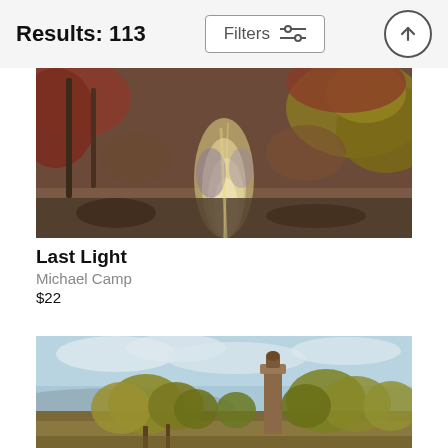Results: 113
[Figure (illustration): Painting of an autumn forest creek with warm red and brown foliage, light reflecting on water, painted in impressionist style. Title: Last Light by Michael Camp, $22.]
Last Light
Michael Camp
$22
[Figure (illustration): Painting of an open landscape with autumn-colored trees in golden yellows and oranges, a tall stone monument or chimney tower in the center-right, blue sky with clouds, painted in impressionist style.]